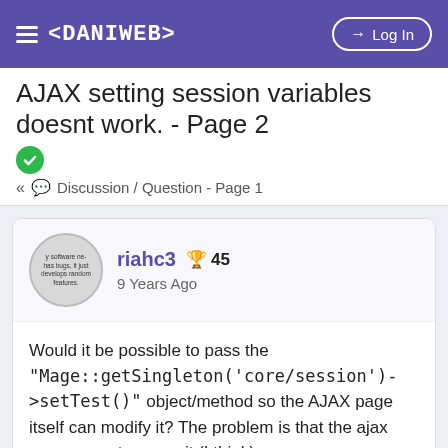≡ <DANIWEB>  Log In
AJAX setting session variables doesnt work. - Page 2
« Discussion / Question - Page 1
riahc3  🏆 45
9 Years Ago
Would it be possible to pass the "Mage::getSingleton('core/session')->setTest()" object/method so the AJAX page itself can modify it? The problem is that the ajax page cannot access it (I think)
👍 0  👎 0